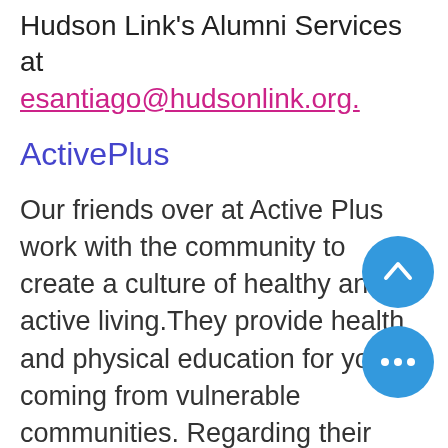Hudson Link's Alumni Services at esantiago@hudsonlink.org.
ActivePlus
Our friends over at Active Plus work with the community to create a culture of healthy and active living.They provide health and physical education for youth coming from vulnerable communities. Regarding their mission they have said: "This mission embodies our purpose, drives our everyday actions, and at the core of who we are as an organization. We believe that, by exposing children and teens to activities, mindsets, information,